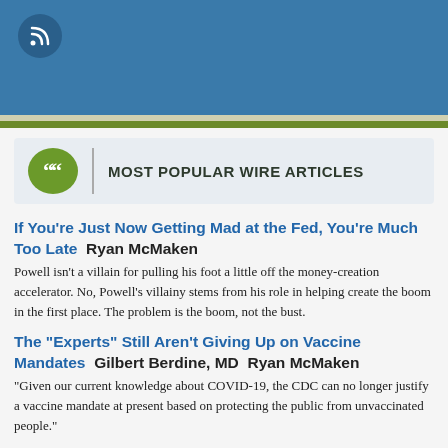[Figure (other): Blue header bar with RSS feed icon (circular dark blue button with RSS symbol)]
MOST POPULAR WIRE ARTICLES
If You're Just Now Getting Mad at the Fed, You're Much Too Late   Ryan McMaken
Powell isn't a villain for pulling his foot a little off the money-creation accelerator. No, Powell's villainy stems from his role in helping create the boom in the first place. The problem is the boom, not the bust.
The "Experts" Still Aren't Giving Up on Vaccine Mandates   Gilbert Berdine, MD   Ryan McMaken
"Given our current knowledge about COVID-19, the CDC can no longer justify a vaccine mandate at present based on protecting the public from unvaccinated people."